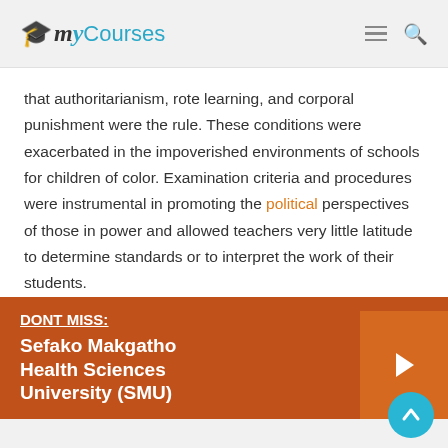My Courses
that authoritarianism, rote learning, and corporal punishment were the rule. These conditions were exacerbated in the impoverished environments of schools for children of color. Examination criteria and procedures were instrumental in promoting the political perspectives of those in power and allowed teachers very little latitude to determine standards or to interpret the work of their students.
DONT MISS: Sefako Makgatho Health Sciences University (SMU)